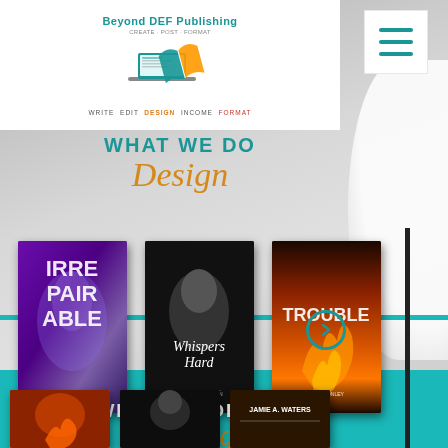[Figure (screenshot): Beyond DEF Publishing website header with logo (laptop and book graphic), company name 'Beyond DEF Publishing', tagline 'CREATE · POST · FORMAT', bottom text 'WRITE EDIT DESIGN INCOME FORMAT', and hamburger menu icon on right]
WHAT WE DO
Design
[Figure (photo): Three book covers in a carousel: 1) 'Irreparable' by Leteisha Newton & Ginger Taylor (purple/dark cover), 2) 'Whispers Hard' by Leteisha Newton (black/white cover), 3) 'Trouble' by Anne Conley (fire/orange cover). Arrow navigation indicator on right.]
WHAT WE OFFER
Editing
[Figure (photo): Three partially visible book covers at bottom of page]